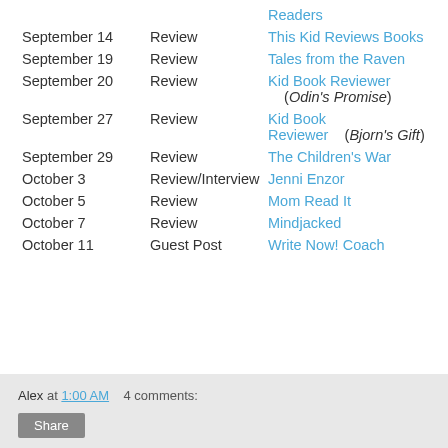| Date | Type | Site |
| --- | --- | --- |
|  |  | Readers |
| September 14 | Review | This Kid Reviews Books |
| September 19 | Review | Tales from the Raven |
| September 20 | Review | Kid Book Reviewer (Odin's Promise) |
| September 27 | Review | Kid Book Reviewer (Bjorn's Gift) |
| September 29 | Review | The Children's War |
| October 3 | Review/Interview | Jenni Enzor |
| October 5 | Review | Mom Read It |
| October 7 | Review | Mindjacked |
| October 11 | Guest Post | Write Now! Coach |
Alex at 1:00 AM    4 comments: